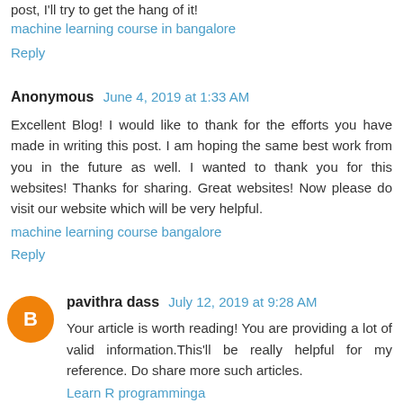post, I'll try to get the hang of it!
machine learning course in bangalore
Reply
Anonymous  June 4, 2019 at 1:33 AM
Excellent Blog! I would like to thank for the efforts you have made in writing this post. I am hoping the same best work from you in the future as well. I wanted to thank you for this websites! Thanks for sharing. Great websites! Now please do visit our website which will be very helpful.
machine learning course bangalore
Reply
pavithra dass  July 12, 2019 at 9:28 AM
Your article is worth reading! You are providing a lot of valid information.This'll be really helpful for my reference. Do share more such articles.
Learn R programminga
R Training in Chennai